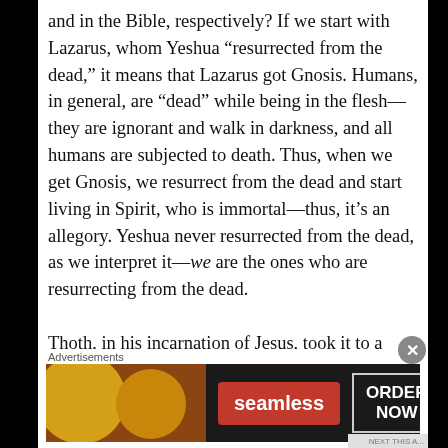and in the Bible, respectively? If we start with Lazarus, whom Yeshua “resurrected from the dead,” it means that Lazarus got Gnosis. Humans, in general, are “dead” while being in the flesh—they are ignorant and walk in darkness, and all humans are subjected to death. Thus, when we get Gnosis, we resurrect from the dead and start living in Spirit, who is immortal—thus, it’s an allegory. Yeshua never resurrected from the dead, as we interpret it—we are the ones who are resurrecting from the dead.
Thoth, in his incarnation of Jesus, took it to a
[Figure (other): Seamless food delivery advertisement banner with pizza image on left, Seamless logo in red, and ORDER NOW button on right]